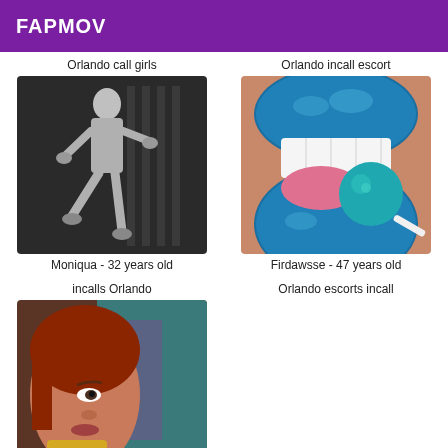FAPMOV
Orlando call girls
[Figure (photo): Black and white photo of a person in a dominatrix pose with metal bars in background]
Moniqua - 32 years old
Orlando incall escort
[Figure (photo): Close-up photo of blue metallic lips licking a blue lollipop]
Firdawsse - 47 years old
incalls Orlando
[Figure (photo): Photo of a red-haired woman with tattoo visible in background]
Orlando escorts incall